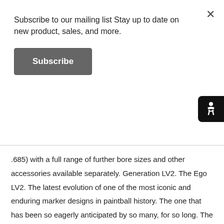Subscribe to our mailing list Stay up to date on new product, sales, and more.
Subscribe
.685) with a full range of further bore sizes and other accessories available separately. Generation LV2. The Ego LV2. The latest evolution of one of the most iconic and enduring marker designs in paintball history. The one that has been so eagerly anticipated by so many, for so long. The one to continue its dominant legacy. The one to inspire a new generation of Egomaniacs. LV2 Features NEW Hoseless design NEW HPR and LPR assembly NEW OLED display module NEW LED status indicator NEW Wraparound grips with sealed pushbuttons NEW Fully contoured foregrip NEW MME (Modular Marker Electronics) electronics package NEW Shaft S63